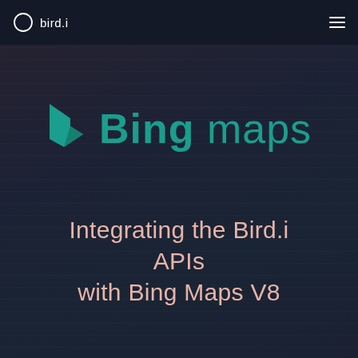bird.i
[Figure (logo): Bing maps logo with teal Bing 'b' icon and teal 'Bing maps' text on dark blurred code background]
Integrating the Bird.i APIs with Bing Maps V8